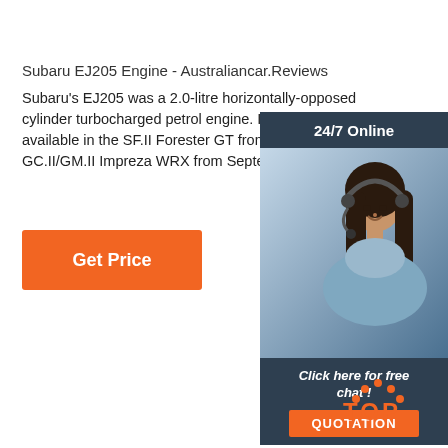Subaru EJ205 Engine - Australiancar.Reviews
Subaru's EJ205 was a 2.0-litre horizontally-opposed cylinder turbocharged petrol engine. In Australia, the available in the SF.II Forester GT from August 1998 GC.II/GM.II Impreza WRX from September 1998.
[Figure (other): Orange 'Get Price' button]
[Figure (other): Advertisement widget showing a woman wearing a headset with '24/7 Online' header, 'Click here for free chat!' text, and an orange 'QUOTATION' button on a dark navy background.]
[Figure (logo): Orange 'TOP' logo with dotted arc above the text]